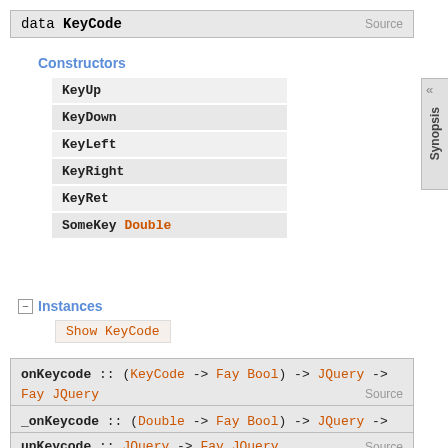data KeyCode
Constructors
KeyUp
KeyDown
KeyLeft
KeyRight
KeyRet
SomeKey Double
Instances
Show KeyCode
onKeycode :: (KeyCode -> Fay Bool) -> JQuery -> Fay JQuery
_onKeycode :: (Double -> Fay Bool) -> JQuery -> Fay JQuery
unKeycode :: JQuery -> Fay JQuery